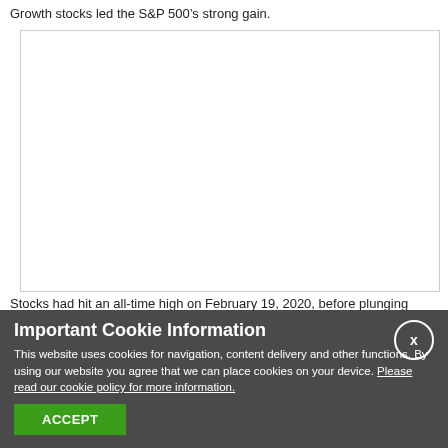Growth stocks led the S&P 500’s strong gain.
[Figure (other): Empty white chart area with border, content not visible]
Stocks had hit an all-time high on February 19, 2020, before plunging 33.9%
Important Cookie Information
This website uses cookies for navigation, content delivery and other functions. By using our website you agree that we can place cookies on your device. Please read our cookie policy for more information.
ACCEPT